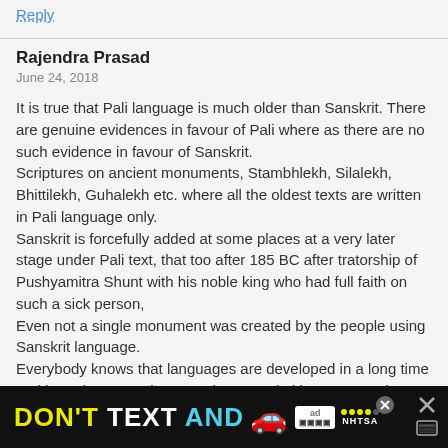Reply
Rajendra Prasad
June 24, 2018
It is true that Pali language is much older than Sanskrit. There are genuine evidences in favour of Pali where as there are no such evidence in favour of Sanskrit.
Scriptures on ancient monuments, Stambhlekh, Silalekh, Bhittilekh, Guhalekh etc. where all the oldest texts are written in Pali language only.
Sanskrit is forcefully added at some places at a very later stage under Pali text, that too after 185 BC after tratorship of Pushyamitra Shunt with his noble king who had full faith on such a sick person,
Even not a single monument was created by the people using Sanskrit language.
Everybody knows that languages are developed in a long time and in early stages these are in Very primitive stage and at later stages grammar
[Figure (infographic): Ad banner at the bottom: black background with text 'DON'T TEXT AND' in yellow and white/cyan, car emoji, ad choice logo, NHTSA logo with star rating dots, and close/X button.]